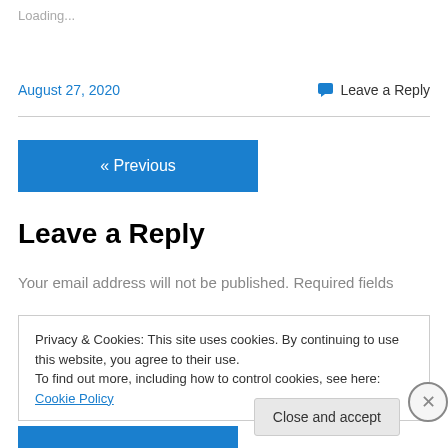Loading...
August 27, 2020
Leave a Reply
« Previous
Leave a Reply
Your email address will not be published. Required fields
Privacy & Cookies: This site uses cookies. By continuing to use this website, you agree to their use.
To find out more, including how to control cookies, see here: Cookie Policy
Close and accept